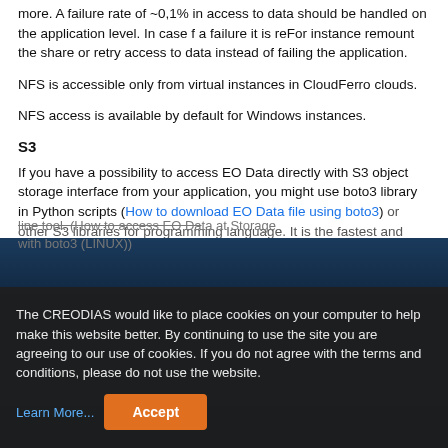more. A failure rate of ~0,1% in access to data should be handled on the application level. In case f a failure it is reFor instance remount the share or retry access to data instead of failing the application.
NFS is accessible only from virtual instances in CloudFerro clouds.
NFS access is available by default for Windows instances.
S3
If you have a possibility to access EO Data directly with S3 object storage interface from your application, you might use boto3 library in Python scripts (How to download EO Data file using boto3) or other S3 libraries for programming language. It is the fastest and most efficient way to access EO data.
The CREODIAS would like to place cookies on your computer to help make this website better. By continuing to use the site you are agreeing to our use of cookies. If you do not agree with the terms and conditions, please do not use the website. Learn More... Accept